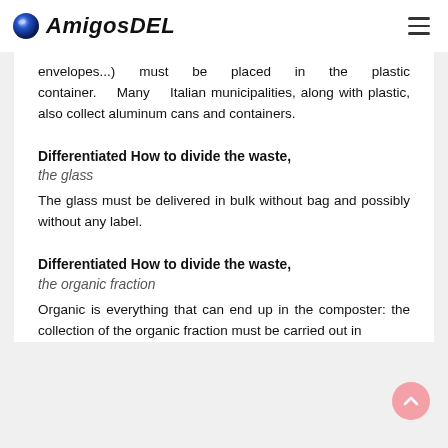AmigosDEL
envelopes...) must be placed in the plastic container. Many Italian municipalities, along with plastic, also collect aluminum cans and containers.
Differentiated How to divide the waste, the glass
The glass must be delivered in bulk without bag and possibly without any label.
Differentiated How to divide the waste, the organic fraction
Organic is everything that can end up in the composter: the collection of the organic fraction must be carried out in